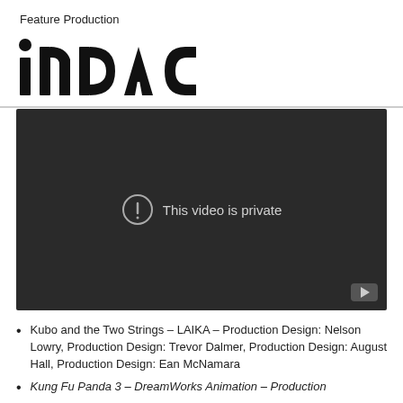Feature Production
[Figure (logo): INDAC logo in bold black text]
[Figure (screenshot): Embedded video player showing 'This video is private' message on dark background with YouTube play button icon]
Kubo and the Two Strings – LAIKA – Production Design: Nelson Lowry, Production Design: Trevor Dalmer, Production Design: August Hall, Production Design: Ean McNamara
Kung Fu Panda 3 – DreamWorks Animation – Production Design: ...